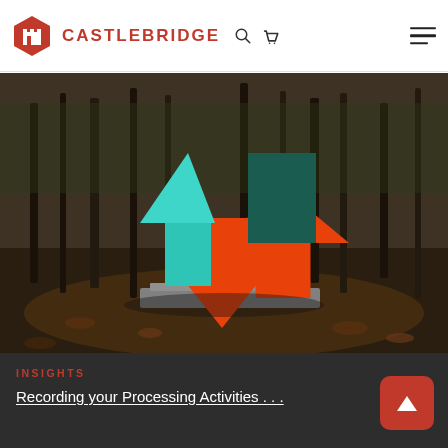CASTLEBRIDGE
[Figure (photo): Outdoor sculpture of upward teal arrow and downward orange/red arrow with dark green rectangular block, set in a forest with fallen autumn leaves on the ground and bare trees in background.]
INSIGHTS
Recording your Processing Activities . . .